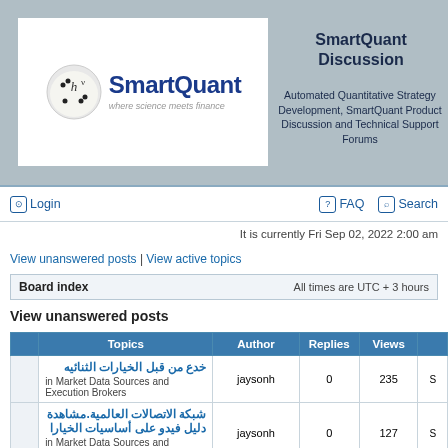[Figure (logo): SmartQuant logo with dice and tagline 'where science meets finance']
SmartQuant Discussion
Automated Quantitative Strategy Development, SmartQuant Product Discussion and Technical Support Forums
Login | FAQ | Search
It is currently Fri Sep 02, 2022 2:00 am
View unanswered posts | View active topics
|  | Board index |  | All times are UTC + 3 hours |
| --- | --- | --- | --- |
View unanswered posts
|  | Topics | Author | Replies | Views |  |
| --- | --- | --- | --- | --- | --- |
|  | خدع من قبل الخيارات الثنائيه
in Market Data Sources and Execution Brokers | jaysonh | 0 | 235 | S |
|  | شبكة الاتصالات العالمية.مشاهدة دليل فيدو على أساسيات الخيارا
in Market Data Sources and Execution Brokers | jaysonh | 0 | 127 | S |